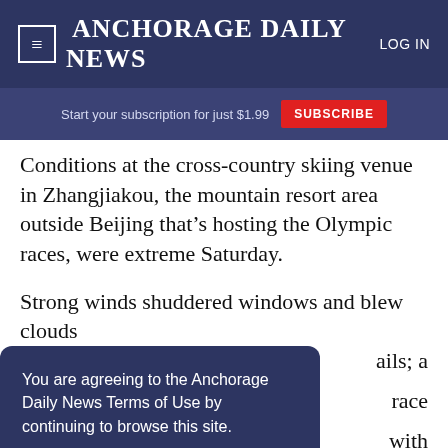Anchorage Daily News — LOG IN
Start your subscription for just $1.99  SUBSCRIBE
Conditions at the cross-country skiing venue in Zhangjiakou, the mountain resort area outside Beijing that's hosting the Olympic races, were extreme Saturday.
Strong winds shuddered windows and blew clouds
You are agreeing to the Anchorage Daily News Terms of Use by continuing to browse this site. Terms of Use
I Accept